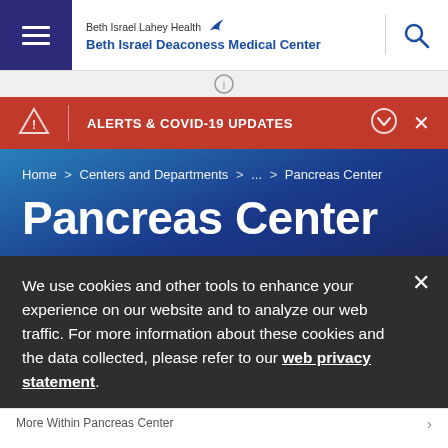Beth Israel Lahey Health Beth Israel Deaconess Medical Center
ALERTS & COVID-19 UPDATES
Home > Centers and Departments > ... > Pancreas Center
Pancreas Center
We use cookies and other tools to enhance your experience on our website and to analyze our web traffic. For more information about these cookies and the data collected, please refer to our web privacy statement.
More Within Pancreas Center